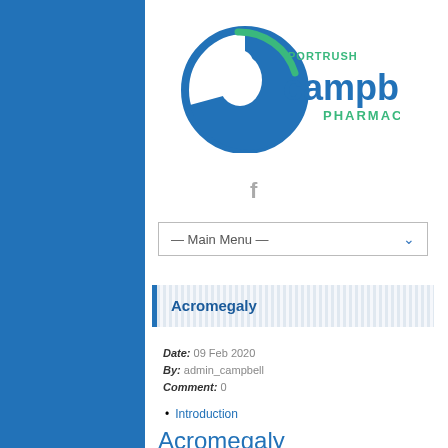[Figure (logo): Portrush Campbell's Pharmacy logo with blue circle and face silhouette icon]
[Figure (logo): Facebook icon in gray]
— Main Menu —
Acromegaly
Date:  09 Feb 2020
By:  admin_campbell
Comment:  0
Introduction
Acromegaly Introduction